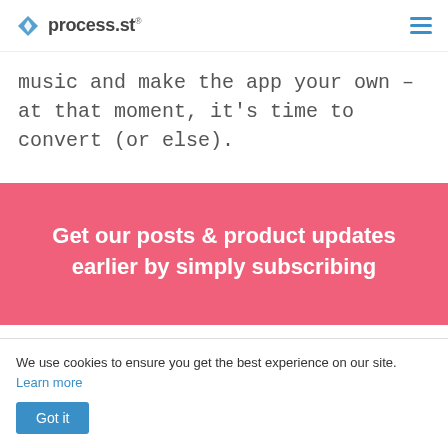process.st
music and make the app your own – at that moment, it's time to convert (or else).
[Figure (infographic): Pink subscription call-to-action banner with text: Get our posts & product updates earlier by simply subscribing]
We use cookies to ensure you get the best experience on our site. Learn more
Got it